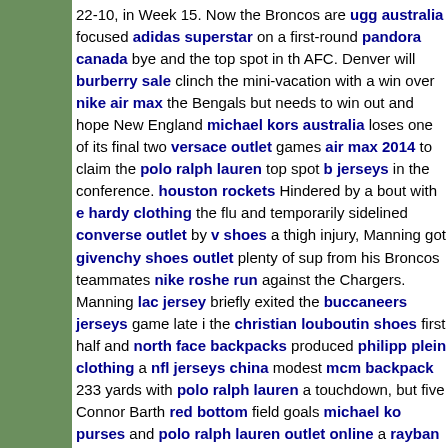22-10, in Week 15. Now the Broncos are ugg australia focused adidas superstar on a first-round pandora canada bye and the top spot in the AFC. Denver will burberry sale clinch the mini-vacation with a win over nike air max the Bengals but needs to win out and hope New England michael kors australia loses one of its final two versace outlet games air max 2014 to claim the polo ralph lauren top spot b jerseys in the conference. houston rockets Hindered by a bout with e hardy clothing the flu and temporarily sidelined converse outlet by v shoes a thigh injury, Manning got givenchy shoes outlet plenty of sup from his Broncos teammates nike roshe run against the Chargers. Manning lac jersey briefly exited the buccaneers jerseys game late i the christian louboutin shoes first half and north face backpacks produced philipp plein clothing a nfl jerseys china modest mcm backpack 233 yards with polo ralph lauren a touchdown, but five Connor Barth red bottom field goals michael ko purses and polo ralph lauren outlet online a rayban strong defensiv jerseys effort vans schuhe helped Denver sew up nike.dk another gi zanotti sneakers division crown. nike fu?ballschuhe Its mcm bags a tough kate spade outlet division to belstaff jackets outlet win, so it good, said Manning. All it does is guarantee you a spot in the ray ban sunglasses playoffs, patriots jerseys but at least you have a shot. The